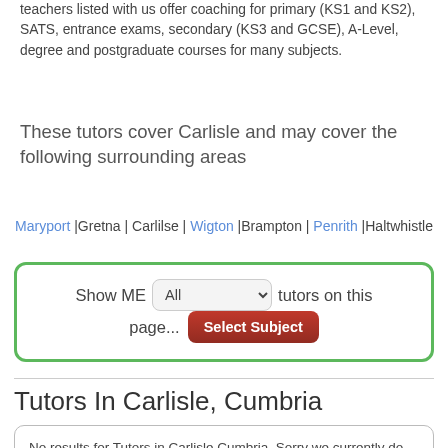teachers listed with us offer coaching for primary (KS1 and KS2), SATS, entrance exams, secondary (KS3 and GCSE), A-Level, degree and postgraduate courses for many subjects.
These tutors cover Carlisle and may cover the following surrounding areas
Maryport |Gretna | Carlilse | Wigton |Brampton | Penrith |Haltwhistle
Show ME All tutors on this page... Select Subject
Tutors In Carlisle, Cumbria
No results for Tutors in Carlisle Cumbria, Sorry we currently do not have any one in Carlisle, Cumbria .

Can't find a tutor close to you, why not try the tutoring